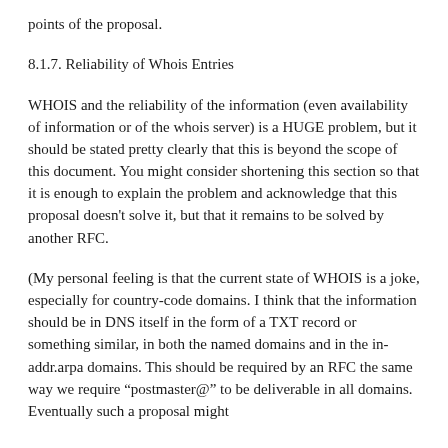points of the proposal.
8.1.7. Reliability of Whois Entries
WHOIS and the reliability of the information (even availability of information or of the whois server) is a HUGE problem, but it should be stated pretty clearly that this is beyond the scope of this document. You might consider shortening this section so that it is enough to explain the problem and acknowledge that this proposal doesn’t solve it, but that it remains to be solved by another RFC.
(My personal feeling is that the current state of WHOIS is a joke, especially for country-code domains. I think that the information should be in DNS itself in the form of a TXT record or something similar, in both the named domains and in the in-addr.arpa domains. This should be required by an RFC the same way we require “postmaster@” to be deliverable in all domains. Eventually such a proposal might